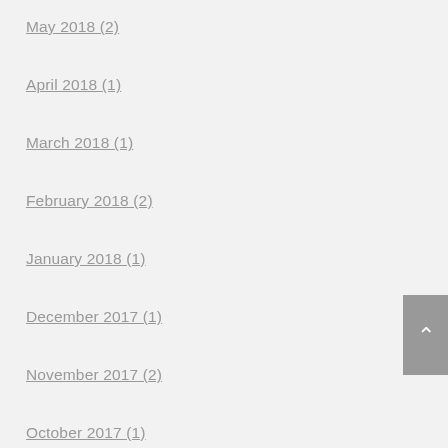May 2018 (2)
April 2018 (1)
March 2018 (1)
February 2018 (2)
January 2018 (1)
December 2017 (1)
November 2017 (2)
October 2017 (1)
September 2017 (1)